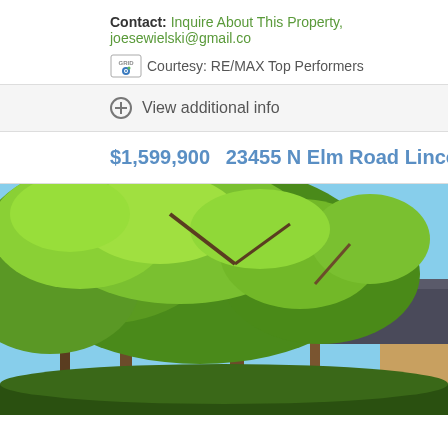Contact: Inquire About This Property, joesewielski@gmail.com
Courtesy: RE/MAX Top Performers
View additional info
$1,599,900  23455 N Elm Road Lincolnshire, IL 60069
[Figure (photo): Exterior photo of property at 23455 N Elm Road Lincolnshire IL, showing lush green trees in foreground with house roof visible in background against blue sky]